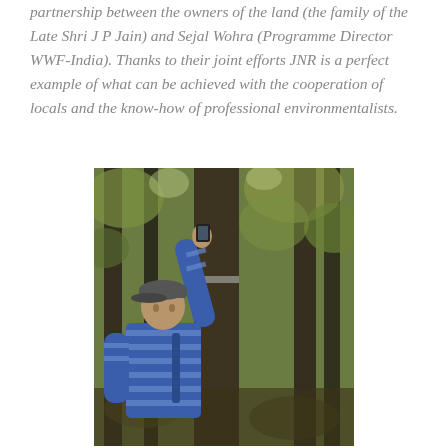partnership between the owners of the land (the family of the Late Shri J P Jain) and Sejal Wohra (Programme Director WWF-India). Thanks to their joint efforts JNR is a perfect example of what can be achieved with the cooperation of locals and the know-how of professional environmentalists.
[Figure (photo): A man wearing a blue striped shirt and cap stands in a dense forest, reaching up to touch or adjust something on a tree trunk. The forest background shows multiple tree trunks and green foliage.]